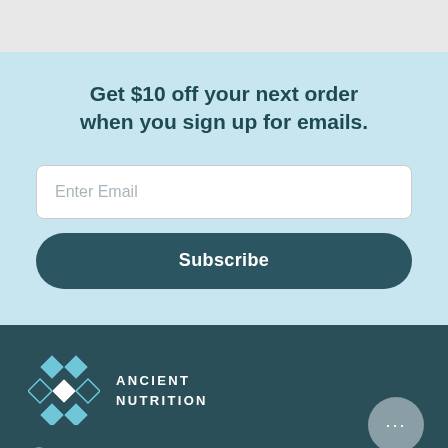Get $10 off your next order when you sign up for emails.
Enter Email
Subscribe
[Figure (logo): Ancient Nutrition geometric hexagonal logo mark in white/light blue]
ANCIENT NUTRITION
+1 855-803-1275